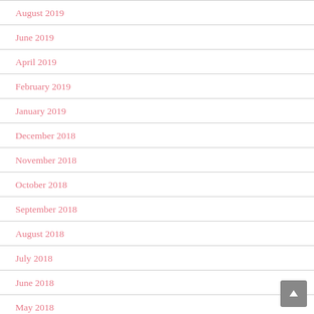August 2019
June 2019
April 2019
February 2019
January 2019
December 2018
November 2018
October 2018
September 2018
August 2018
July 2018
June 2018
May 2018